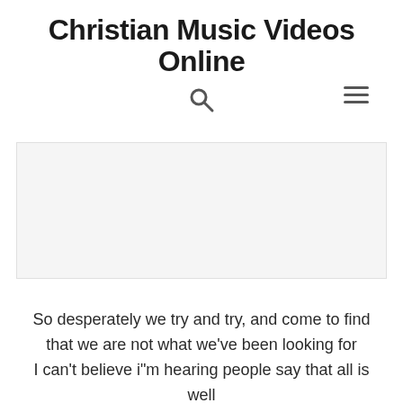Christian Music Videos Online
So desperately we try and try, and come to find that we are not what we've been looking for
I can't believe i"m hearing people say that all is well
I think it's time we all admit we have no good within ourselves
'cause we are not okay, we're not alright, and we
[Figure (other): Advertisement or blank area placeholder]